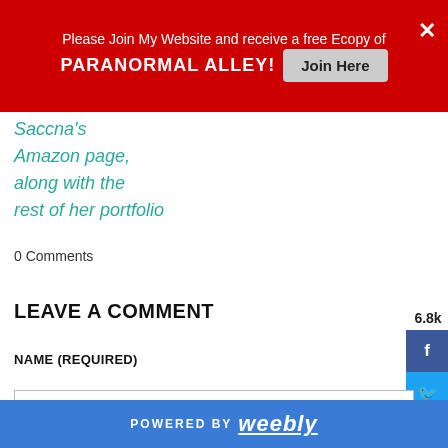[Figure (screenshot): Red promotional banner: 'Please Join My Website and receive a free Ecopy of PARANORMAL ALLEY!' with a 'Join Here' button and close X]
Saccna's Amazon page, along with the rest of her portfolio
6.8k
[Figure (infographic): Social media share sidebar with Facebook, Twitter, Google+, Pinterest, LinkedIn, and more buttons]
0 Comments
LEAVE A COMMENT
NAME (REQUIRED)
POWERED BY weebly